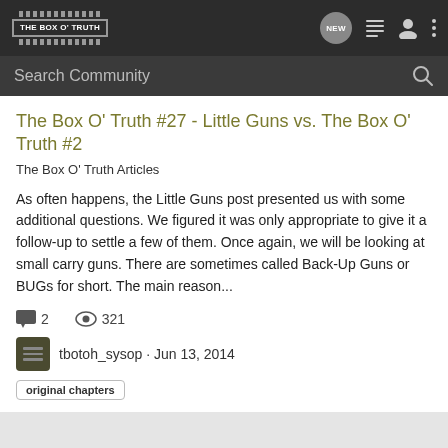THE BOX O' TRUTH — Navigation bar with logo and icons
Search Community
The Box O' Truth #27 - Little Guns vs. The Box O' Truth #2
The Box O' Truth Articles
As often happens, the Little Guns post presented us with some additional questions. We figured it was only appropriate to give it a follow-up to settle a few of them. Once again, we will be looking at small carry guns. There are sometimes called Back-Up Guns or BUGs for short. The main reason...
2 comments · 321 views
tbotoh_sysop · Jun 13, 2014
original chapters